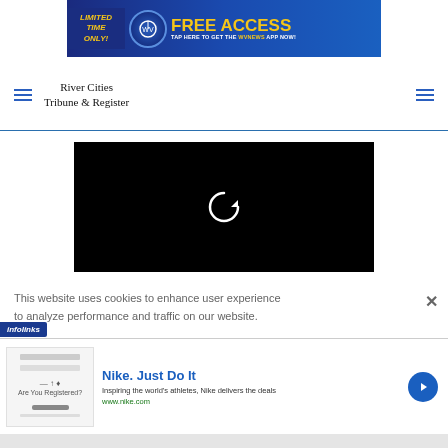[Figure (screenshot): WVNews app promotional banner: 'LIMITED TIME ONLY! FREE ACCESS - TAP HERE TO GET THE WVNEWS APP NOW!' with blue background and yellow text]
River Cities Tribune & Register
[Figure (screenshot): Black video player with white replay/refresh icon in center]
This website uses cookies to enhance user experience to analyze performance and traffic on our website.
[Figure (screenshot): Infolinks badge and Nike advertisement: 'Nike. Just Do It - Inspiring the world's athletes, Nike delivers the deals - www.nike.com']